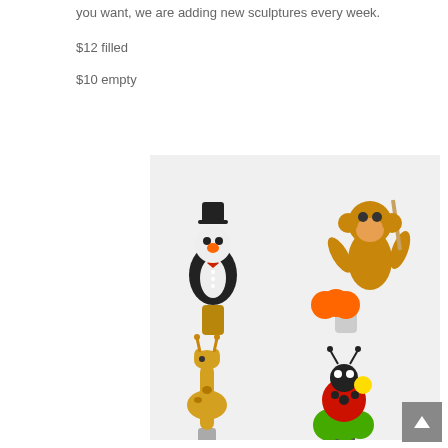you want, we are adding new sculptures every week.
$12 filled
$10 empty
[Figure (photo): Four balloon animal wine bottle stoppers: top-left is a penguin in a tuxedo with a black hat, top-right is a brown monkey holding a stick with orange balloon base, bottom-left is a giraffe balloon sculpture, bottom-right is a ladybug balloon sculpture in red, yellow, and green on a white stopper.]